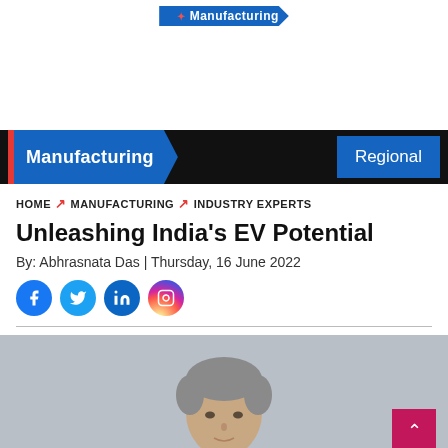Manufacturing
Manufacturing | Regional
HOME > MANUFACTURING > INDUSTRY EXPERTS
Unleashing India's EV Potential
By: Abhrasnata Das | Thursday, 16 June 2022
[Figure (illustration): Social media icons: Facebook, Twitter, LinkedIn, Instagram]
[Figure (photo): Professional headshot of a man with grey hair against a grey background. A pink/red back-to-top button is visible in the bottom right corner.]